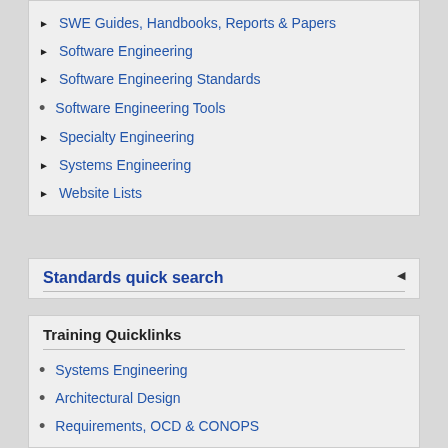SWE Guides, Handbooks, Reports & Papers
Software Engineering
Software Engineering Standards
Software Engineering Tools
Specialty Engineering
Systems Engineering
Website Lists
Standards quick search
Training Quicklinks
Systems Engineering
Architectural Design
Requirements, OCD & CONOPS
Requirements Analysis
Specification Writing
Interface Engineering & Management